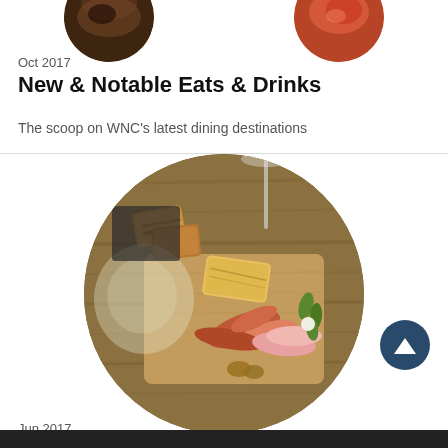[Figure (photo): Partial circular cropped food photos at top of page (dark drink/food on left, reddish food on right), cut off at top]
Oct 2017
New & Notable Eats & Drinks
The scoop on WNC's latest dining destinations
[Figure (photo): Circular cropped photo of a charcuterie/cured meat board on a wooden cutting board, with a wine glass, gherkins, sausages, cured meats, grilled bread, and nuts]
Jun 2017
New & Notable Eateries July/August 2017
The scoop on WNC's latest dining destinations